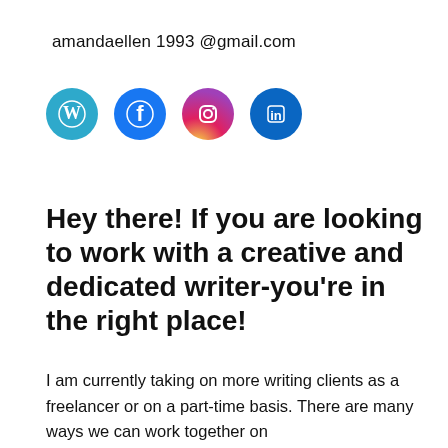amandaellen 1993 @gmail.com
[Figure (infographic): Four social media icon circles in a row: WordPress (light blue), Facebook (blue), Instagram (pink/magenta gradient), LinkedIn (dark blue)]
Hey there! If you are looking to work with a creative and dedicated writer-you're in the right place!
I am currently taking on more writing clients as a freelancer or on a part-time basis. There are many ways we can work together on